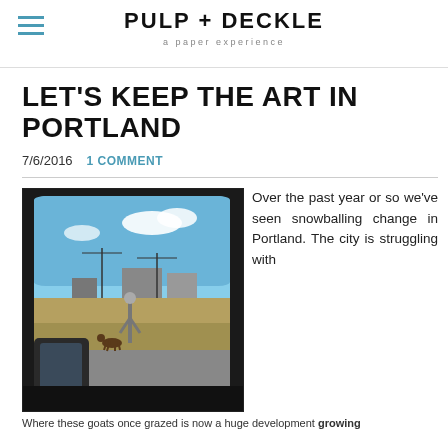PULP + DECKLE
a paper experience
LET'S KEEP THE ART IN PORTLAND
7/6/2016   1 COMMENT
[Figure (photo): View from inside a car showing a vacant lot with a person standing and a dog nearby, under a blue sky, with industrial buildings in the background.]
Where these goats once grazed is now a huge development growing
Over the past year or so we've seen snowballing change in Portland. The city is struggling with